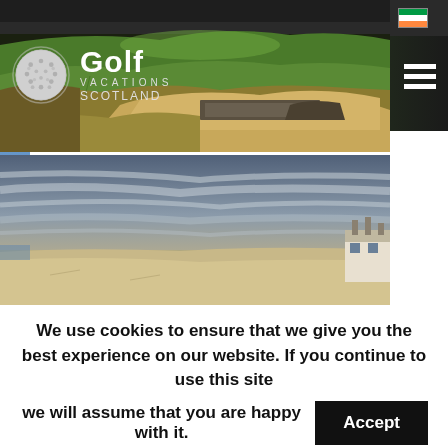Visit our other destinations:
[Figure (logo): Golf Vacations Scotland logo with golf ball circle icon and hamburger menu on dark header background with golf course photo]
[Figure (photo): Aerial view of golf course with green fairway, sand bunker, and rough grass in golden light]
[Figure (photo): Golf course with dramatic long-exposure sky, open fairway and white building in background]
We use cookies to ensure that we give you the best experience on our website. If you continue to use this site we will assume that you are happy with it.
Accept
Read More